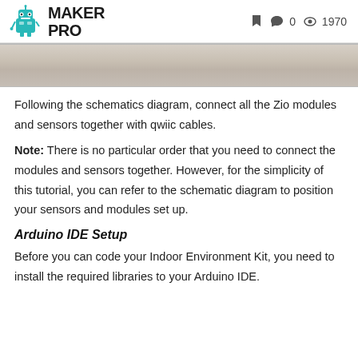MAKER PRO | 0 | 1970
[Figure (photo): Partial photograph of a wooden surface or board, likely showing hardware setup on a table]
Following the schematics diagram, connect all the Zio modules and sensors together with qwiic cables.
Note: There is no particular order that you need to connect the modules and sensors together. However, for the simplicity of this tutorial, you can refer to the schematic diagram to position your sensors and modules set up.
Arduino IDE Setup
Before you can code your Indoor Environment Kit, you need to install the required libraries to your Arduino IDE.